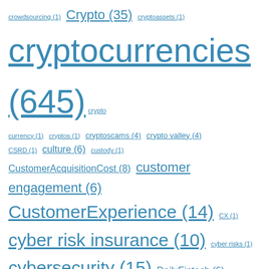crowdsourcing (1) Crypto (35) cryptoassets (1) cryptocurrencies (645) crypto currency (1) cryptos (1) cryptoscams (4) crypto valley (4) CSRD (1) culture (6) custody (1) CustomerAcquisitionCost (8) customer engagement (6) CustomerExperience (14) CX (1) cyber risk insurance (10) cyber risks (1) cybersecurity (15) DailyFintech (6) Daily Fintech Advisers (93) daily fintech index (12) data (10) DataMonetization (1) data privacy (7) DBSBank (1) Decarbonisation (1) decentralised autonomous organisations (2) Decentralization (12) defaults (2) defi (17) delaware (2) democracy (2) democratization of wall street (16) demonetisation (2) dentist (1) deposit accounts (2) deposits (1) Deposit Solutions (1) developers (1) DEX (1) diem (3) digin (2) digital (16) Digital assets (6) digital banking (7) digital checking account (1) digital